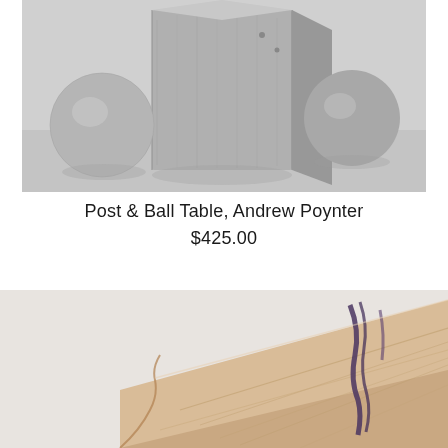[Figure (photo): Black and white photograph of wooden geometric objects: a rectangular post/block and two spherical balls arranged together on a light surface]
Post & Ball Table, Andrew Poynter
$425.00
[Figure (photo): Color photograph of a wooden slab/board with natural grain and dark resin/epoxy fills, showing warm wood tones and purple-blue resin details]